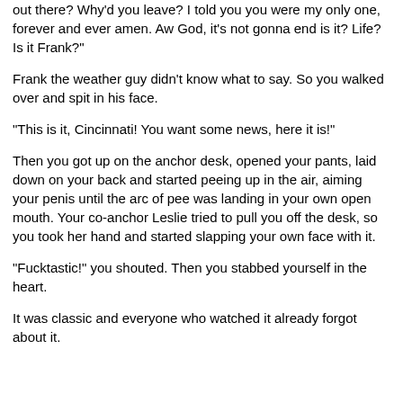out there? Why'd you leave? I told you you were my only one, forever and ever amen. Aw God, it's not gonna end is it? Life? Is it Frank?"
Frank the weather guy didn't know what to say. So you walked over and spit in his face.
"This is it, Cincinnati! You want some news, here it is!"
Then you got up on the anchor desk, opened your pants, laid down on your back and started peeing up in the air, aiming your penis until the arc of pee was landing in your own open mouth. Your co-anchor Leslie tried to pull you off the desk, so you took her hand and started slapping your own face with it.
"Fucktastic!" you shouted. Then you stabbed yourself in the heart.
It was classic and everyone who watched it already forgot about it.